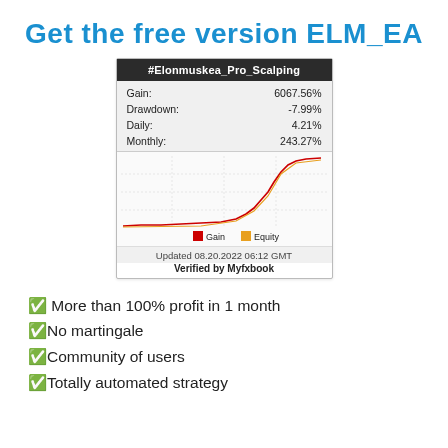Get the free version ELM_EA
[Figure (screenshot): Myfxbook trading statistics card for #Elonmuskea_Pro_Scalping showing Gain: 6067.56%, Drawdown: -7.99%, Daily: 4.21%, Monthly: 243.27%, with a gain/equity chart. Updated 08.20.2022 06:12 GMT. Verified by Myfxbook.]
✅ More than 100% profit in 1 month
✅No martingale
✅Community of users
✅Totally automated strategy